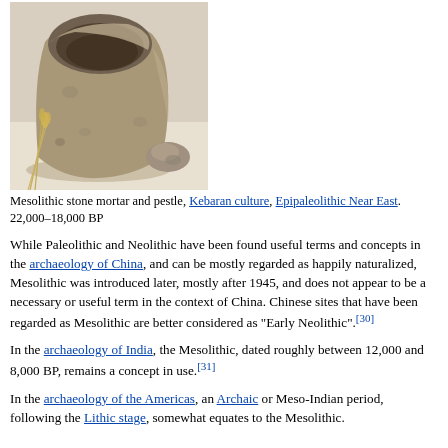[Figure (photo): Mesolithic stone mortar and pestle artifact, rough porous stone bowl shape with a smaller rounded stone pestle beside it, displayed on a white surface with dried wheat stalks, Kebaran culture, Epipaleolithic Near East]
Mesolithic stone mortar and pestle, Kebaran culture, Epipaleolithic Near East. 22,000–18,000 BP
While Paleolithic and Neolithic have been found useful terms and concepts in the archaeology of China, and can be mostly regarded as happily naturalized, Mesolithic was introduced later, mostly after 1945, and does not appear to be a necessary or useful term in the context of China. Chinese sites that have been regarded as Mesolithic are better considered as "Early Neolithic".[30]
In the archaeology of India, the Mesolithic, dated roughly between 12,000 and 8,000 BP, remains a concept in use.[31]
In the archaeology of the Americas, an Archaic or Meso-Indian period, following the Lithic stage, somewhat equates to the Mesolithic.